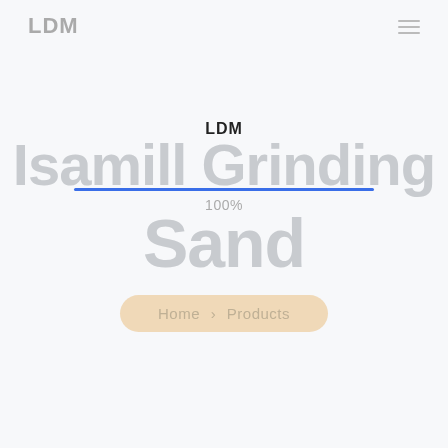LDM
LDM
Isamill Grinding
100%
Sand
Home > Products